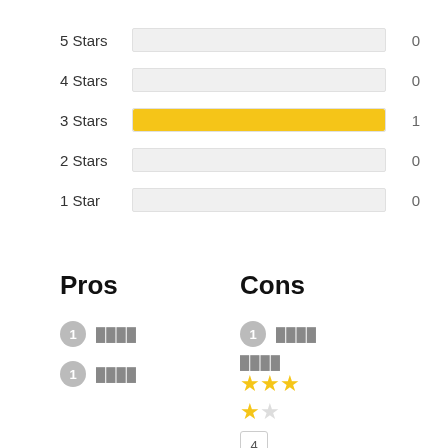[Figure (bar-chart): Star ratings distribution]
Pros
Cons
1  ████
1  ████
1  ████
████  ★★★★★
★★☆
4  ████  ★★☆